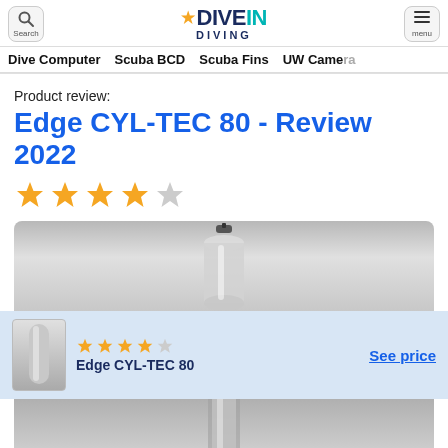DIVEIN DIVING — Search / Menu header with navigation: Dive Computer, Scuba BCD, Scuba Fins, UW Camera
Product review:
Edge CYL-TEC 80 - Review 2022
[Figure (illustration): 4 out of 5 star rating shown as large gold/grey stars]
[Figure (photo): Photo of Edge CYL-TEC 80 scuba cylinder with valve on grey gradient background]
[Figure (infographic): Sticky bar with thumbnail image of cylinder, 4/5 star rating, product name Edge CYL-TEC 80, and See price link]
[Figure (photo): Lower portion of scuba cylinder product photo on grey gradient background]